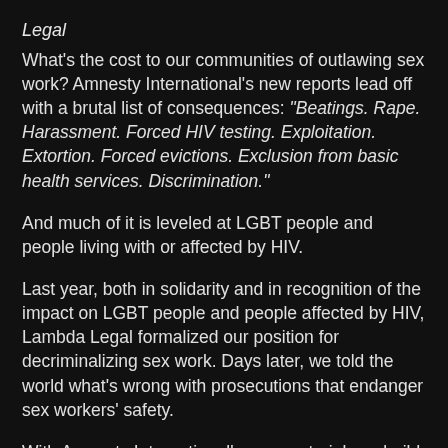Legal
What's the cost to our communities of outlawing sex work? Amnesty International's new reports lead off with a brutal list of consequences: "Beatings. Rape. Harassment. Forced HIV testing. Exploitation. Extortion. Forced evictions. Exclusion from basic health services. Discrimination."
And much of it is leveled at LGBT people and people living with or affected by HIV.
Last year, both in solidarity and in recognition of the impact on LGBT people and people affected by HIV, Lambda Legal formalized our position for decriminalizing sex work. Days later, we told the world what's wrong with prosecutions that endanger sex workers' safety.
With Amnesty International's new material, we build an